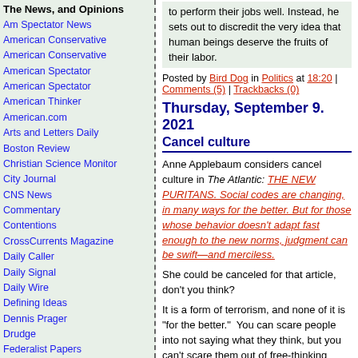The News, and Opinions
Am Spectator News
American Conservative
American Conservative
American Spectator
American Spectator
American Thinker
American.com
Arts and Letters Daily
Boston Review
Christian Science Monitor
City Journal
CNS News
Commentary
Contentions
CrossCurrents Magazine
Daily Caller
Daily Signal
Daily Wire
Defining Ideas
Dennis Prager
Drudge
Federalist Papers
FEE
First Principles
FORA TV
Foreign Policy
FOX News
Front Page Magazine
Gatestone
Gatestone Institute
Human Events
IBD Editorials
Intelligent Life
Lucianne
Memeorandum
National Affairs
to perform their jobs well. Instead, he sets out to discredit the very idea that human beings deserve the fruits of their labor.
Posted by Bird Dog in Politics at 18:20 | Comments (5) | Trackbacks (0)
Thursday, September 9. 2021
Cancel culture
Anne Applebaum considers cancel culture in The Atlantic: THE NEW PURITANS. Social codes are changing, in many ways for the better. But for those whose behavior doesn't adapt fast enough to the new norms, judgment can be swift—and merciless.
She could be canceled for that article, don't you think?
It is a form of terrorism, and none of it is "for the better." You can scare people into not saying what they think, but you can't scare them out of free-thinking unless you start with the little